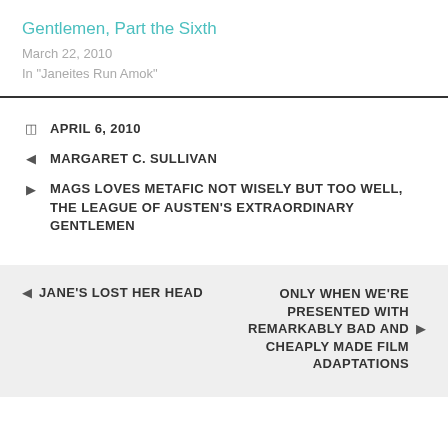Gentlemen, Part the Sixth
March 22, 2010
In "Janeites Run Amok"
APRIL 6, 2010
MARGARET C. SULLIVAN
MAGS LOVES METAFIC NOT WISELY BUT TOO WELL, THE LEAGUE OF AUSTEN'S EXTRAORDINARY GENTLEMEN
JANE'S LOST HER HEAD
ONLY WHEN WE'RE PRESENTED WITH REMARKABLY BAD AND CHEAPLY MADE FILM ADAPTATIONS